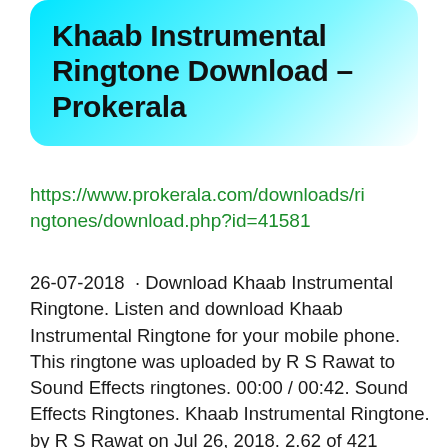Khaab Instrumental Ringtone Download – Prokerala
https://www.prokerala.com/downloads/ringtones/download.php?id=41581
26-07-2018 · Download Khaab Instrumental Ringtone. Listen and download Khaab Instrumental Ringtone for your mobile phone. This ringtone was uploaded by R S Rawat to Sound Effects ringtones. 00:00 / 00:42. Sound Effects Ringtones. Khaab Instrumental Ringtone. by R S Rawat on Jul 26, 2018. 2.62 of 421 votes.